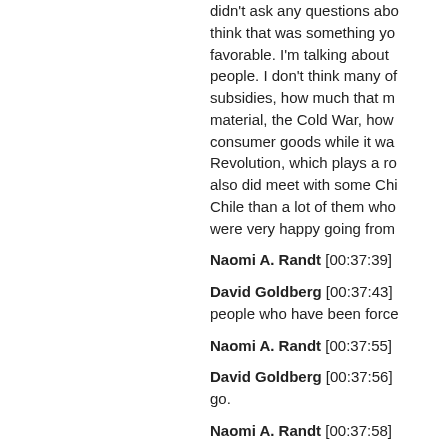didn't ask any questions about think that was something you favorable. I'm talking about people. I don't think many of subsidies, how much that material, the Cold War, how consumer goods while it was Revolution, which plays a role also did meet with some Chile than a lot of them who were very happy going from
Naomi A. Randt [00:37:39]
David Goldberg [00:37:43] people who have been forced
Naomi A. Randt [00:37:55]
David Goldberg [00:37:56] go.
Naomi A. Randt [00:37:58]
David Goldberg [00:38:03] Brigade experience.
Naomi A. Randt [00:38:07]
David Goldberg [00:38:13]